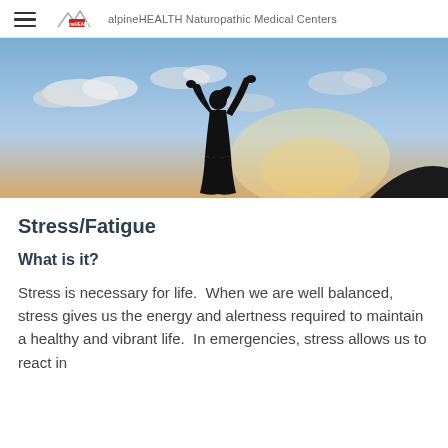alpineHEALTH Naturopathic Medical Centers
[Figure (photo): Silhouette of a person with arms raised against a bright sky with clouds, conveying freedom and vitality]
Stress/Fatigue
What is it?
Stress is necessary for life.  When we are well balanced, stress gives us the energy and alertness required to maintain a healthy and vibrant life.  In emergencies, stress allows us to react in